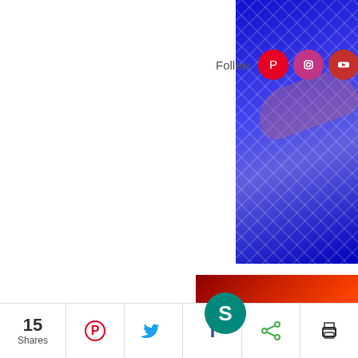[Figure (screenshot): Social media follow bar with Pinterest, Instagram, YouTube, Facebook, Twitter icons next to 'Follow' text]
[Figure (photo): Blue-lit photo with diamond/mesh grid pattern, partially cropped on right side of page, with a hand/finger visible]
Got To G
[Figure (screenshot): Thumbnail with red background showing teal 'S' avatar circle and white text: "Got to Get You Into M..."]
[Figure (screenshot): Bottom share bar with 15 Shares count and Pinterest, Twitter, Facebook, share, print icon buttons]